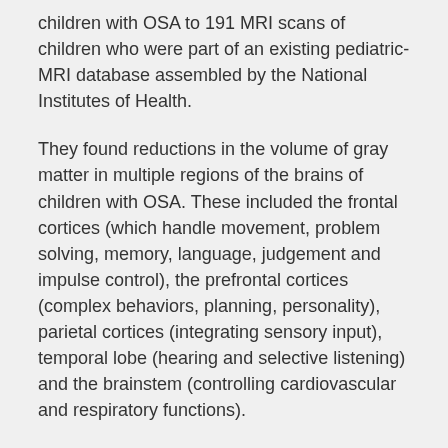children with OSA to 191 MRI scans of children who were part of an existing pediatric-MRI database assembled by the National Institutes of Health.
They found reductions in the volume of gray matter in multiple regions of the brains of children with OSA. These included the frontal cortices (which handle movement, problem solving, memory, language, judgement and impulse control), the prefrontal cortices (complex behaviors, planning, personality), parietal cortices (integrating sensory input), temporal lobe (hearing and selective listening) and the brainstem (controlling cardiovascular and respiratory functions).
Although these gray matter reductions were rather extensive, the direct consequences can be difficult to measure.